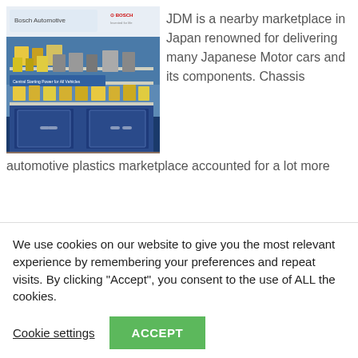[Figure (photo): Bosch Automotive product display shelf with automotive parts and components, branded with Bosch logo]
JDM is a nearby marketplace in Japan renowned for delivering many Japanese Motor cars and its components. Chassis automotive plastics marketplace accounted for a lot more
We use cookies on our website to give you the most relevant experience by remembering your preferences and repeat visits. By clicking "Accept", you consent to the use of ALL the cookies.
Cookie settings
ACCEPT